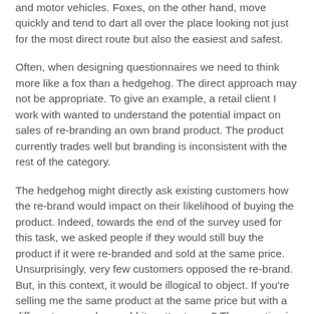and motor vehicles. Foxes, on the other hand, move quickly and tend to dart all over the place looking not just for the most direct route but also the easiest and safest.
Often, when designing questionnaires we need to think more like a fox than a hedgehog. The direct approach may not be appropriate. To give an example, a retail client I work with wanted to understand the potential impact on sales of re-branding an own brand product. The product currently trades well but branding is inconsistent with the rest of the category.
The hedgehog might directly ask existing customers how the re-brand would impact on their likelihood of buying the product. Indeed, towards the end of the survey used for this task, we asked people if they would still buy the product if it were re-branded and sold at the same price. Unsurprisingly, very few customers opposed the re-brand. But, in this context, it would be illogical to object. If you're selling me the same product at the same price but with a different name why would it matter to me? The question is leading and generates little insight.
Therefore, we needed to think more like a fox than a hedgehog. So, we split our sample into 2. Half were given a list of competitor products including the existing branded product while the other half were shown the same list but with the re-branded product.